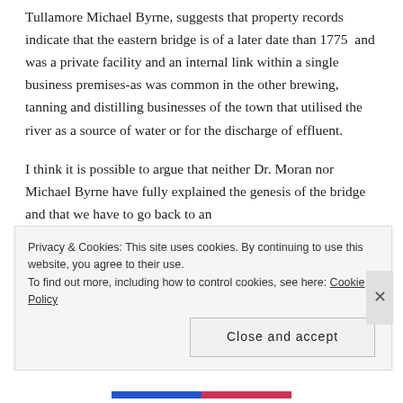Tullamore Michael Byrne, suggests that property records indicate that the eastern bridge is of a later date than 1775  and was a private facility and an internal link within a single business premises-as was common in the other brewing, tanning and distilling businesses of the town that utilised the river as a source of water or for the discharge of effluent.
I think it is possible to argue that neither Dr. Moran nor Michael Byrne have fully explained the genesis of the bridge and that we have to go back to an
Privacy & Cookies: This site uses cookies. By continuing to use this website, you agree to their use.
To find out more, including how to control cookies, see here: Cookie Policy
[Close and accept]